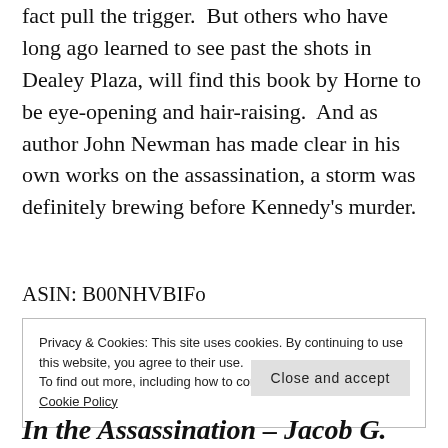fact pull the trigger.  But others who have long ago learned to see past the shots in Dealey Plaza, will find this book by Horne to be eye-opening and hair-raising.  And as author John Newman has made clear in his own works on the assassination, a storm was definitely brewing before Kennedy's murder.
ASIN: B00NHVBIFo
Privacy & Cookies: This site uses cookies. By continuing to use this website, you agree to their use.
To find out more, including how to control cookies, see here: Cookie Policy
Close and accept
In the Assassination – Jacob G.